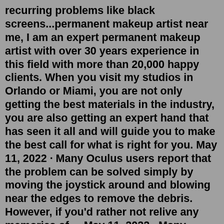recurring problems like black screens...permanent makeup artist near me, I am an expert permanent makeup artist with over 30 years experience in this field with more than 20,000 happy clients. When you visit my studios in Orlando or Miami, you are not only getting the best materials in the industry, you are also getting an expert hand that has seen it all and will guide you to make the best call for what is right for you. May 11, 2022 · Many Oculus users report that the problem can be solved simply by moving the joystick around and blowing near the edges to remove the debris. However, if you'd rather not relive any memories of ... May 11, 2022 · Many Oculus users report that the problem can be solved simply by moving the joystick around and blowing near the edges to remove the debris. However, if you'd rather not relive any memories of ... permanent makeup artist near me, I am an expert permanent makeup artist with over 30 years experience in this field with more than 20,000 happy clients. When you visit my studios in Orlando or Miami, you are not only getting the best materials in the industry, you are also getting an expert hand that has seen it all and will guide you to make the best call for what is right for you.